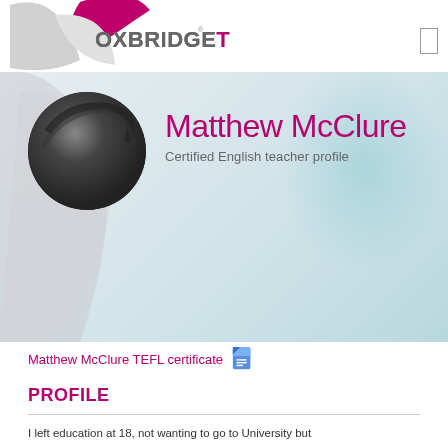[Figure (logo): OXBRIDGETEFL logo with grey and pink swoosh shapes]
[Figure (photo): Circular profile photo of Matthew McClure]
Matthew McClure
Certified English teacher profile
Matthew McClure TEFL certificate
PROFILE
I left education at 18, not wanting to go to University but